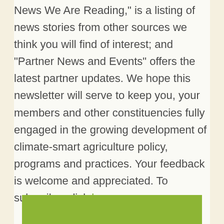News We Are Reading," is a listing of news stories from other sources we think you will find of interest; and "Partner News and Events" offers the latest partner updates. We hope this newsletter will serve to keep you, your members and other constituencies fully engaged in the growing development of climate-smart agriculture policy, programs and practices. Your feedback is welcome and appreciated. To subscribe, click here.
[Figure (other): Green rectangular banner/header block at the bottom of the page]